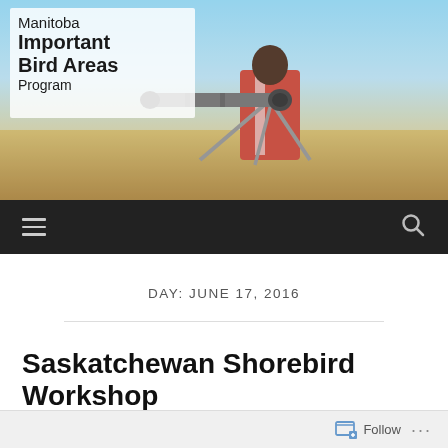[Figure (photo): Website header banner showing a birdwatcher with a spotting scope/telescope pointed at a field, wearing an orange vest, viewed from behind against a blurred landscape background. The Manitoba Important Bird Areas Program logo is overlaid in the top-left.]
Manitoba Important Bird Areas Program
[Figure (screenshot): Dark navigation bar with hamburger menu icon on the left and search (magnifying glass) icon on the right]
DAY: JUNE 17, 2016
Saskatchewan Shorebird Workshop
JUNE 17, 2016
Follow ...